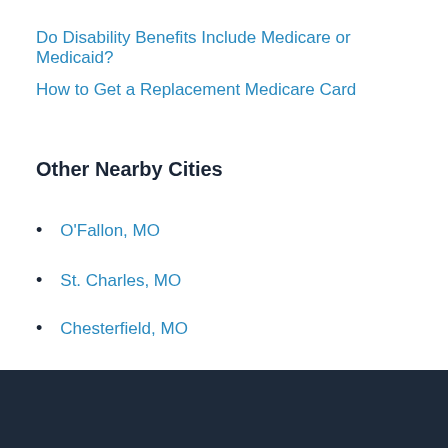Do Disability Benefits Include Medicare or Medicaid?
How to Get a Replacement Medicare Card
Other Nearby Cities
O'Fallon, MO
St. Charles, MO
Chesterfield, MO
Maryland Heights, MO
Lake St. Louis, MO
Bridgeton, MO